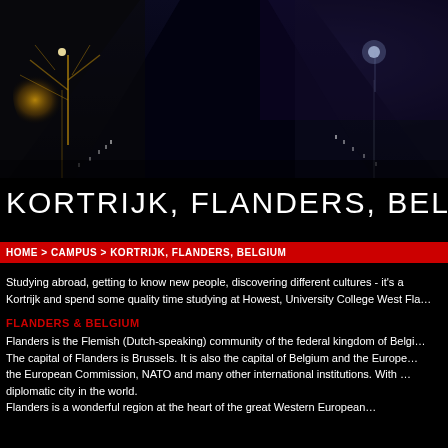[Figure (photo): Aerial night view of a canal or waterway with lights reflecting on dark water, showing a symmetrical perspective down a dock or bridge structure. Illuminated tree on the left, bright light point on the right.]
KORTRIJK, FLANDERS, BELGIUM
HOME > CAMPUS > KORTRIJK, FLANDERS, BELGIUM
Studying abroad, getting to know new people, discovering different cultures - it's a... Kortrijk and spend some quality time studying at Howest, University College West Fla...
FLANDERS & BELGIUM
Flanders is the Flemish (Dutch-speaking) community of the federal kingdom of Belgi... The capital of Flanders is Brussels. It is also the capital of Belgium and the Europe... the European Commission, NATO and many other international institutions. With ... diplomatic city in the world.
Flanders is a wonderful region at the heart of the great Western European...